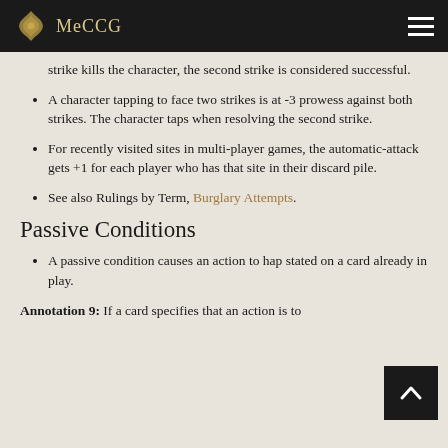MeCCG
strike kills the character, the second strike is considered successful.
A character tapping to face two strikes is at -3 prowess against both strikes. The character taps when resolving the second strike.
For recently visited sites in multi-player games, the automatic-attack gets +1 for each player who has that site in their discard pile.
See also Rulings by Term, Burglary Attempts.
Passive Conditions
A passive condition causes an action to hap... stated on a card already in play.
Annotation 9: If a card specifies that an action is to...